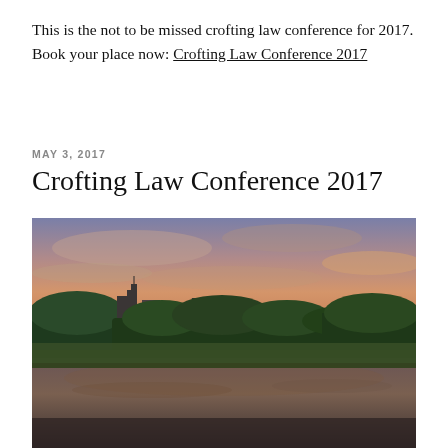This is the not to be missed crofting law conference for 2017. Book your place now: Crofting Law Conference 2017
MAY 3, 2017
Crofting Law Conference 2017
[Figure (photo): Photograph of a castle surrounded by trees reflected in a lake, with a dramatic pink and purple sunset sky.]